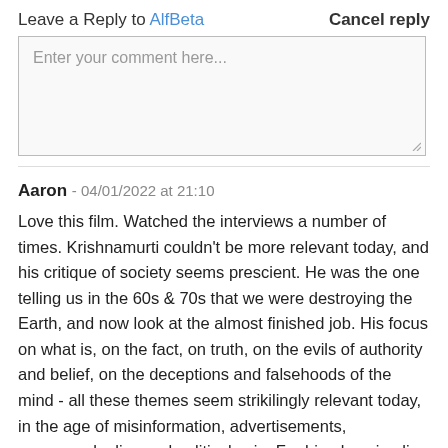Leave a Reply to AlfBeta    Cancel reply
Enter your comment here...
Aaron - 04/01/2022 at 21:10
Love this film. Watched the interviews a number of times. Krishnamurti couldn't be more relevant today, and his critique of society seems prescient. He was the one telling us in the 60s & 70s that we were destroying the Earth, and now look at the almost finished job. His focus on what is, on the fact, on truth, on the evils of authority and belief, on the deceptions and falsehoods of the mind - all these themes seem strikilingly relevant today, in the age of misinformation, advertisements, propaganda, lies and political spin. For him, love implies freedom: you can't impose law on love - love is its own law. And therefore there is no choice in love: love is its own law after all. You